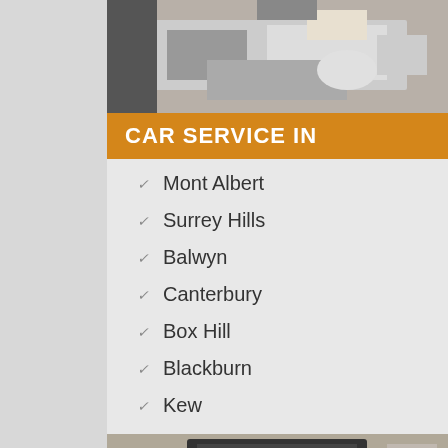[Figure (photo): Mechanic working on a car engine with hood open]
CAR SERVICE IN
Mont Albert
Surrey Hills
Balwyn
Canterbury
Box Hill
Blackburn
Kew
[Figure (photo): Close-up of car engine parts being worked on]